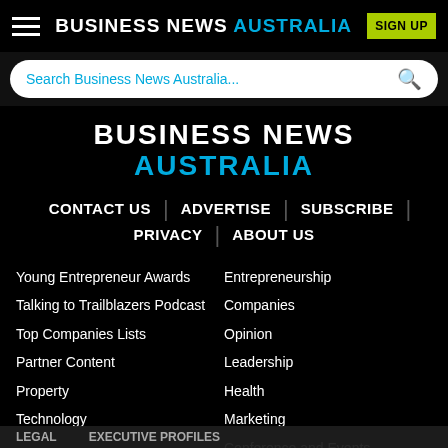BUSINESS NEWS AUSTRALIA
Search Business News Australia...
BUSINESS NEWS AUSTRALIA
CONTACT US
ADVERTISE
SUBSCRIBE
PRIVACY
ABOUT US
Young Entrepreneur Awards
Entrepreneurship
Talking to Trailblazers Podcast
Companies
Top Companies Lists
Opinion
Partner Content
Leadership
Property
Health
Technology
Marketing
Conference and Events
Legal | Executive Profiles